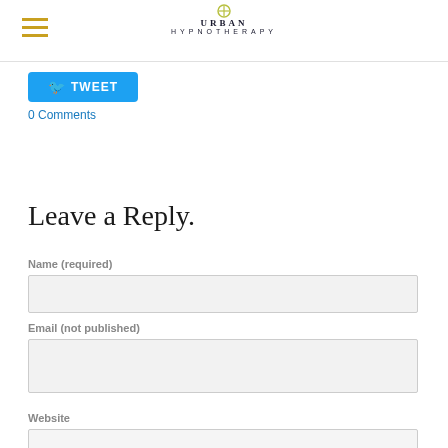Urban Hypnotherapy
[Figure (screenshot): Tweet button (blue rounded rectangle)]
0 Comments
Leave a Reply.
Name (required)
Email (not published)
Website